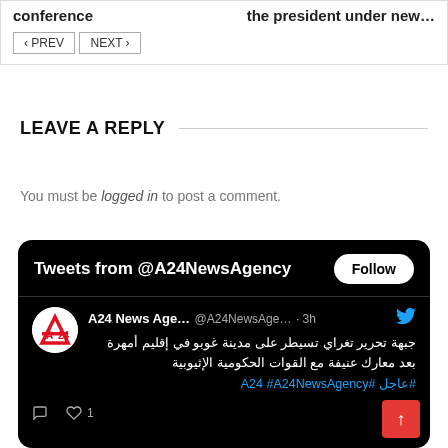conference
the president under new…
< PREV   NEXT >
LEAVE A REPLY
You must be logged in to post a comment.
[Figure (screenshot): Embedded Twitter widget showing tweets from @A24NewsAgency with a Follow button and a tweet in Arabic about Tigray forces taking control of Guba city in Afar region after violent battles with Ethiopian government forces, with hashtags #عاجل #A24 #A24NewsAgency]